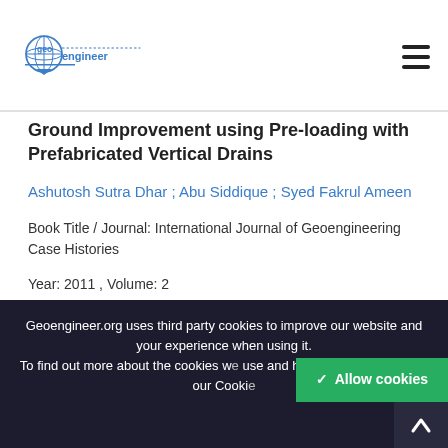Geoengineer logo and navigation
Ground Improvement using Pre-loading with Prefabricated Vertical Drains
Ashutosh Sutra Dhar ; Abu Siddique ; Syed Fakrul Ameen
Book Title / Journal: International Journal of Geoengineering Case Histories
Year: 2011 , Volume: 2
Prefabricated Vertical Drains
Geoengineer.org uses third party cookies to improve our website and your experience when using it. To find out more about the cookies we use and how to delete them visit our Cookie Policy.